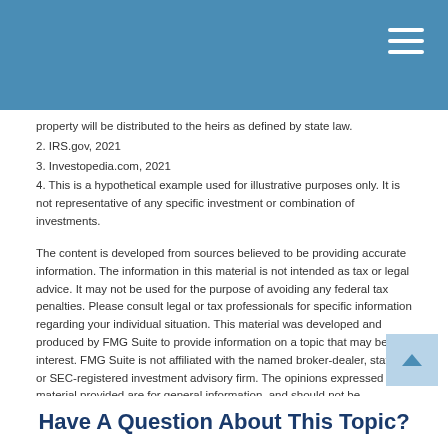property will be distributed to the heirs as defined by state law.
2. IRS.gov, 2021
3. Investopedia.com, 2021
4. This is a hypothetical example used for illustrative purposes only. It is not representative of any specific investment or combination of investments.
The content is developed from sources believed to be providing accurate information. The information in this material is not intended as tax or legal advice. It may not be used for the purpose of avoiding any federal tax penalties. Please consult legal or tax professionals for specific information regarding your individual situation. This material was developed and produced by FMG Suite to provide information on a topic that may be of interest. FMG Suite is not affiliated with the named broker-dealer, state- or SEC-registered investment advisory firm. The opinions expressed and material provided are for general information, and should not be considered a solicitation for the purchase or sale of any security. Copyright 2022 FMG Suite.
Share |
Have A Question About This Topic?